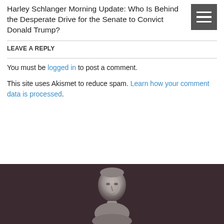Harley Schlanger Morning Update: Who Is Behind the Desperate Drive for the Senate to Convict Donald Trump?
LEAVE A REPLY
You must be logged in to post a comment.
This site uses Akismet to reduce spam. Learn how your comment data is processed.
[Figure (photo): Dark brown footer background with a classical sculpture bust (grayscale) of a figure, partially visible at the bottom of the page.]